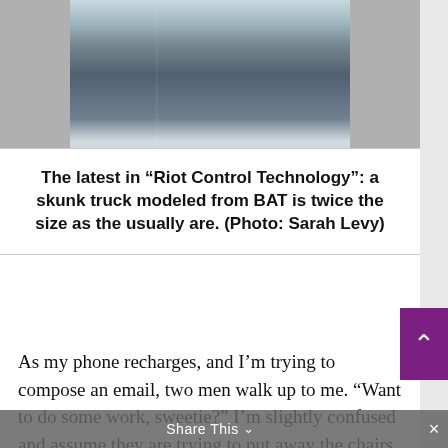[Figure (photo): Exhibition hall photo showing trade show booths, people walking around, and a large vehicle/truck in the background]
The latest in “Riot Control Technology”: a skunk truck modeled from BAT is twice the size as the usually are. (Photo: Sarah Levy)
As my phone recharges, and I’m trying to compose an email, two men walk up to me. “Want to do some work, sweetie?” I’m slightly confused and assume they are trying to put away the chairs I’m sitting on.